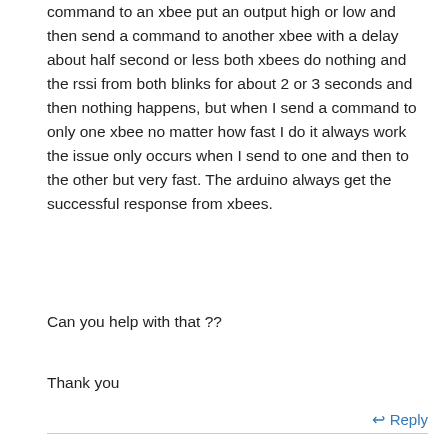command to an xbee put an output high or low and then send a command to another xbee with a delay about half second or less both xbees do nothing and the rssi from both blinks for about 2 or 3 seconds and then nothing happens, but when I send a command to only one xbee no matter how fast I do it always work the issue only occurs when I send to one and then to the other but very fast. The arduino always get the successful response from xbees.
Can you help with that ??
Thank you
Reply